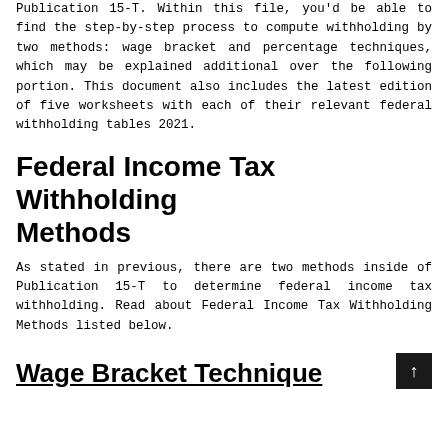Publication 15-T. Within this file, you'd be able to find the step-by-step process to compute withholding by two methods: wage bracket and percentage techniques, which may be explained additional over the following portion. This document also includes the latest edition of five worksheets with each of their relevant federal withholding tables 2021.
Federal Income Tax Withholding Methods
As stated in previous, there are two methods inside of Publication 15-T to determine federal income tax withholding. Read about Federal Income Tax Withholding Methods listed below.
Wage Bracket Technique